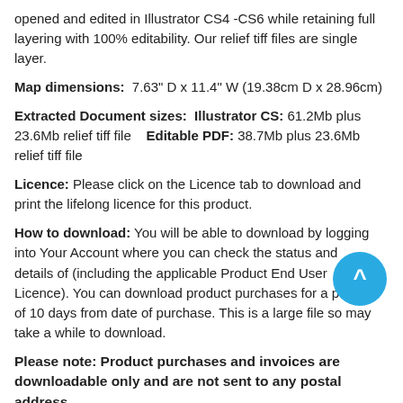opened and edited in Illustrator CS4 -CS6 while retaining full layering with 100% editability. Our relief tiff files are single layer.
Map dimensions:  7.63" D x 11.4" W (19.38cm D x 28.96cm)
Extracted Document sizes:  Illustrator CS: 61.2Mb plus 23.6Mb relief tiff file    Editable PDF: 38.7Mb plus 23.6Mb relief tiff file
Licence: Please click on the Licence tab to download and print the lifelong licence for this product.
How to download: You will be able to download by logging into Your Account where you can check the status and details of (including the applicable Product End User Licence). You can download product purchases for a period of 10 days from date of purchase. This is a large file so may take a while to download.
Please note: Product purchases and invoices are downloadable only and are not sent to any postal address